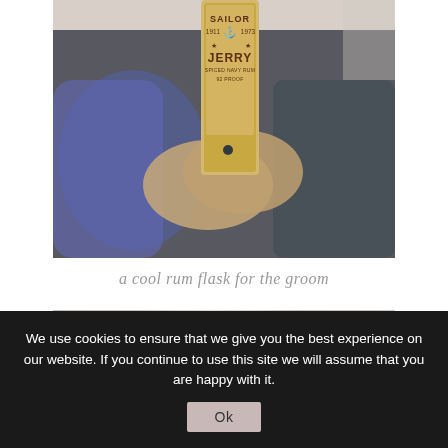[Figure (photo): Person in dark jacket holding a Sailor Jerry Spiced Navy Rum flask with both hands. The flask shows the Sailor Jerry label with anchor logo, 1911-1973 dates, stars, and text reading SAILOR JERRY SPICED NAVY RUM 92 PROOF.]
a cool rum flask for the groom
[Figure (photo): Partial bottom photo, cropped, showing light-colored background with soft tones.]
We use cookies to ensure that we give you the best experience on our website. If you continue to use this site we will assume that you are happy with it.